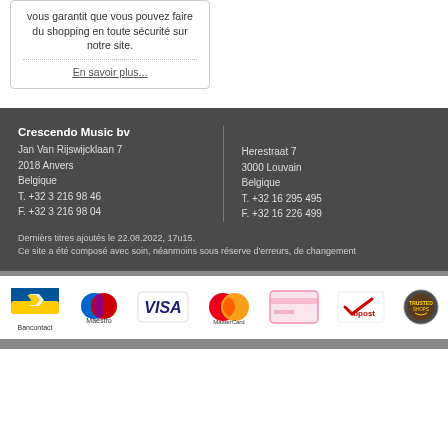vous garantit que vous pouvez faire du shopping en toute sécurité sur notre site.
En savoir plus...
Crescendo Music bv
Jan Van Rijswijcklaan 7
2018 Anvers
Belgique
T. +32 3 216 98 46
F. +32 3 216 98 04
Herestraat 7
3000 Louvain
Belgique
T. +32 16 295 495
F. +32 16 226 499
Dernièrs titres ajoutés le 22.08.2022, 17u15.
Ce site a été composé avec soin, néanmoins sous réserve d'erreurs, de changement
[Figure (logo): Payment method logos: Bancontact, Maestro, VISA, MasterCard, and other payment logos including bpost]